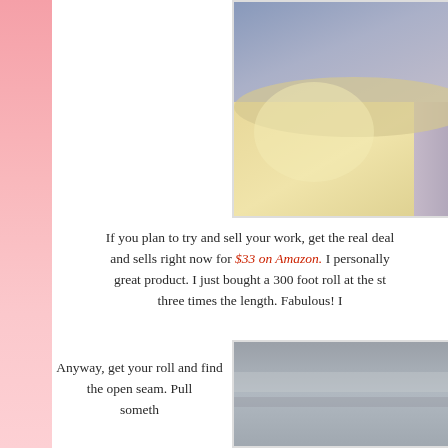[Figure (photo): Close-up photo of a metallic/foil material showing cream/gold and grey/blue tones]
If you plan to try and sell your work, get the real deal and sells right now for $33 on Amazon.  I personally great product.  I just bought a 300 foot roll at the st three times the length.  Fabulous!  I
Anyway, get your roll and find the open seam.  Pull someth
[Figure (photo): Close-up photo of a grey metallic roll or surface]